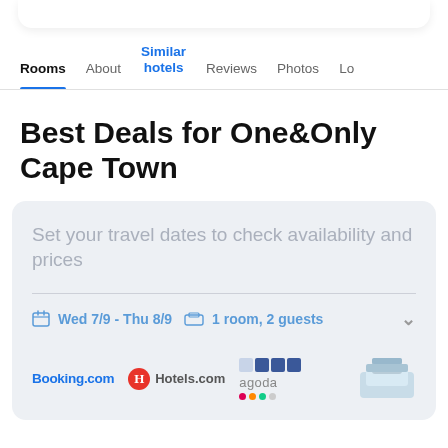Rooms | About | Similar hotels | Reviews | Photos | Lo...
Best Deals for One&Only Cape Town
Set your travel dates to check availability and prices
Wed 7/9 - Thu 8/9  1 room, 2 guests
[Figure (logo): Booking.com, Hotels.com, Agoda logos and a decorative cushion image]